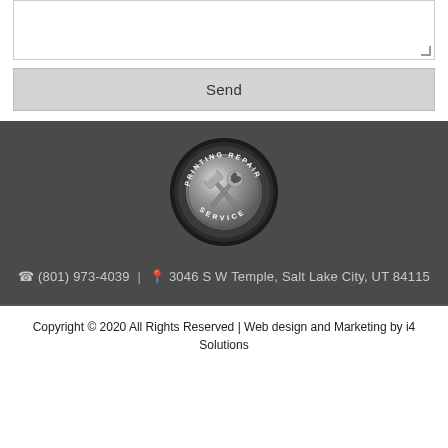[Figure (other): Empty textarea input field with resize handle in bottom-right corner]
Send
[Figure (logo): Circular logo with crossed hammer and wrench tools, text reading PRINTING REPAIR SERVICE around the border]
(801) 973-4039 | 3046 S W Temple, Salt Lake City, UT 84115
Copyright © 2020 All Rights Reserved | Web design and Marketing by i4 Solutions